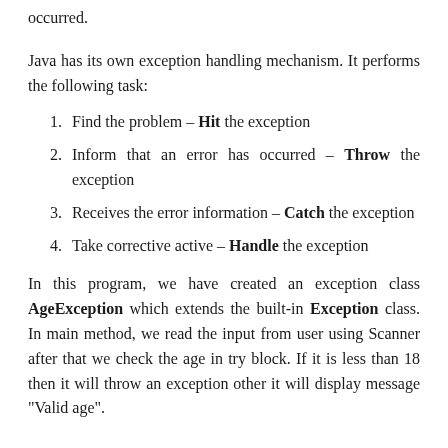occurred.
Java has its own exception handling mechanism. It performs the following task:
Find the problem – Hit the exception
Inform that an error has occurred – Throw the exception
Receives the error information – Catch the exception
Take corrective active – Handle the exception
In this program, we have created an exception class AgeException which extends the built-in Exception class. In main method, we read the input from user using Scanner after that we check the age in try block. If it is less than 18 then it will throw an exception other it will display message "Valid age".